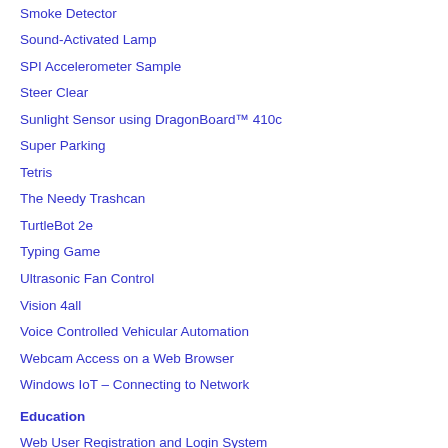Smoke Detector
Sound-Activated Lamp
SPI Accelerometer Sample
Steer Clear
Sunlight Sensor using DragonBoard™ 410c
Super Parking
Tetris
The Needy Trashcan
TurtleBot 2e
Typing Game
Ultrasonic Fan Control
Vision 4all
Voice Controlled Vehicular Automation
Webcam Access on a Web Browser
Windows IoT – Connecting to Network
Education
Web User Registration and Login System
4 Steps to AWS IoT
Alexa Q...